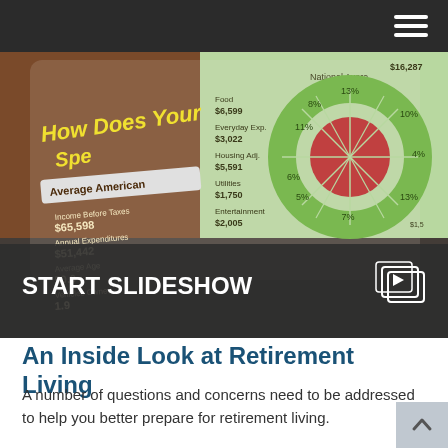[Figure (screenshot): A slideshow thumbnail showing an infographic titled 'How Does Your Spending Compare?' with Average American spending statistics ($65,598 income, $51,442 annual expenditures, average age 50.0, vehicles owned 1.9) and a donut/pie chart showing spending breakdown categories. Over the image reads 'START SLIDESHOW' with a video icon.]
An Inside Look at Retirement Living
A number of questions and concerns need to be addressed to help you better prepare for retirement living.